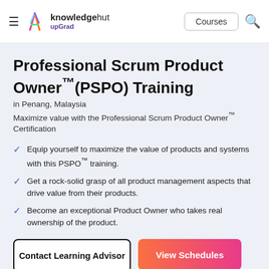knowledgehut upGrad — Courses
Professional Scrum Product Owner™(PSPO) Training
in Penang, Malaysia
Maximize value with the Professional Scrum Product Owner™ Certification
Equip yourself to maximize the value of products and systems with this PSPO™ training.
Get a rock-solid grasp of all product management aspects that drive value from their products.
Become an exceptional Product Owner who takes real ownership of the product.
Contact Learning Advisor | View Schedules